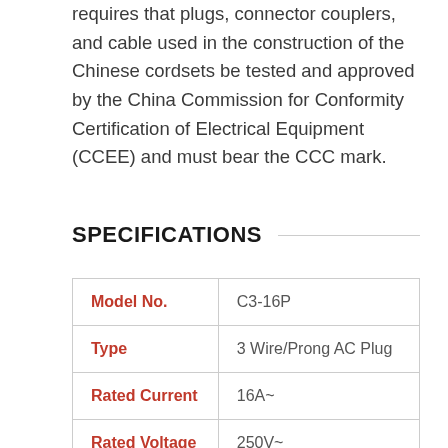requires that plugs, connector couplers, and cable used in the construction of the Chinese cordsets be tested and approved by the China Commission for Conformity Certification of Electrical Equipment (CCEE) and must bear the CCC mark.
SPECIFICATIONS
| Model No. | C3-16P |
| Type | 3 Wire/Prong AC Plug |
| Rated Current | 16A~ |
| Rated Voltage | 250V~ |